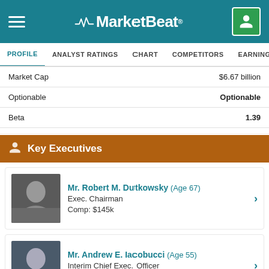MarketBeat
PROFILE  ANALYST RATINGS  CHART  COMPETITORS  EARNINGS  FINANCIALS
|  |  |
| --- | --- |
| Market Cap | $6.67 billion |
| Optionable | Optionable |
| Beta | 1.39 |
Key Executives
Mr. Robert M. Dutkowsky (Age 67)
Exec. Chairman
Comp: $145k
Mr. Andrew E. Iacobucci (Age 55)
Interim Chief Exec. Officer
Comp: $1.2M